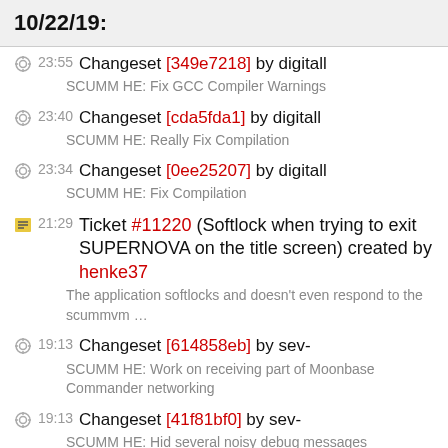10/22/19:
23:55 Changeset [349e7218] by digitall
SCUMM HE: Fix GCC Compiler Warnings
23:40 Changeset [cda5fda1] by digitall
SCUMM HE: Really Fix Compilation
23:34 Changeset [0ee25207] by digitall
SCUMM HE: Fix Compilation
21:29 Ticket #11220 (Softlock when trying to exit SUPERNOVA on the title screen) created by henke37
The application softlocks and doesn't even respond to the scummvm …
19:13 Changeset [614858eb] by sev-
SCUMM HE: Work on receiving part of Moonbase Commander networking
19:13 Changeset [41f81bf0] by sev-
SCUMM HE: Hid several noisy debug messages